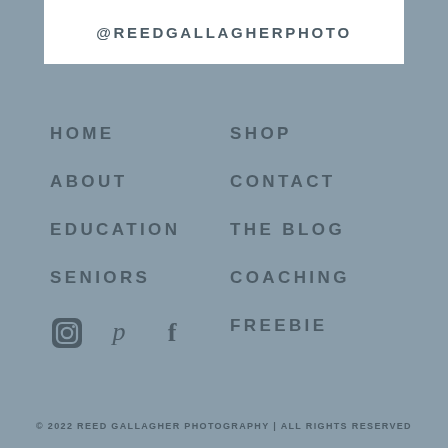@REEDGALLAGHERPHOTO
HOME
SHOP
ABOUT
CONTACT
EDUCATION
THE BLOG
SENIORS
COACHING
[Figure (illustration): Social media icons: Instagram, Pinterest, Facebook]
FREEBIE
© 2022 REED GALLAGHER PHOTOGRAPHY | ALL RIGHTS RESERVED